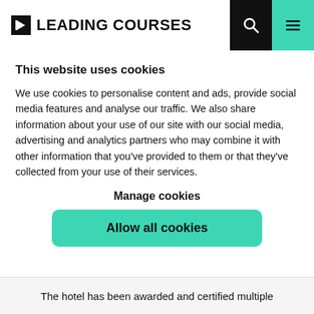LEADING COURSES
This website uses cookies
We use cookies to personalise content and ads, provide social media features and analyse our traffic. We also share information about your use of our site with our social media, advertising and analytics partners who may combine it with other information that you've provided to them or that they've collected from your use of their services.
Manage cookies
Allow all cookies
The hotel has been awarded and certified multiple